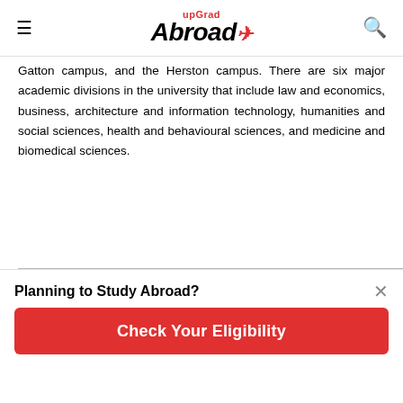upGrad Abroad
Gatton campus, and the Herston campus. There are six major academic divisions in the university that include law and economics, business, architecture and information technology, humanities and social sciences, health and behavioural sciences, and medicine and biomedical sciences.
| QS World University Ranking 2023 | Type | English language proficiency requirements | Top discip |
| --- | --- | --- | --- |
Planning to Study Abroad?
Check Your Eligibility